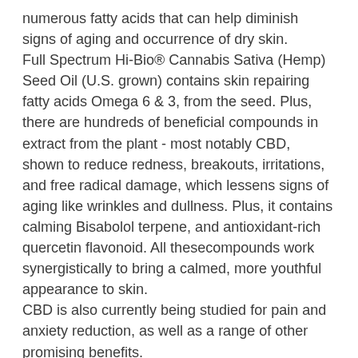numerous fatty acids that can help diminish signs of aging and occurrence of dry skin.
Full Spectrum Hi-Bio® Cannabis Sativa (Hemp) Seed Oil (U.S. grown) contains skin repairing fatty acids Omega 6 & 3, from the seed. Plus, there are hundreds of beneficial compounds in extract from the plant - most notably CBD, shown to reduce redness, breakouts, irritations, and free radical damage, which lessens signs of aging like wrinkles and dullness. Plus, it contains calming Bisabolol terpene, and antioxidant-rich quercetin flavonoid. All thesecompounds work synergistically to bring a calmed, more youthful appearance to skin.
CBD is also currently being studied for pain and anxiety reduction, as well as a range of other promising benefits.
A combination of retinol (Vitamin A) and palmitic acid (considered one of the top anti-aging ingredients) brings a renewed look to skin.
Vitamin E is one of the most well-known and researched antioxidants for the body and for skin.
U.S. FARM HARVESTS:
U.S. grown & non-GMO Safflower Seed & Soy oils, U.S. grown